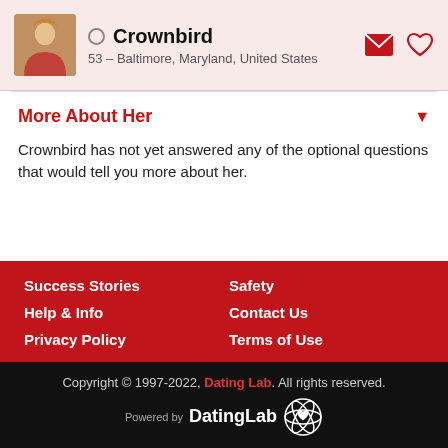Crownbird — 53 – Baltimore, Maryland, United States
More About Her
Crownbird has not yet answered any of the optional questions that would tell you more about her.
Success Stories
Safety
Help & Info
Contact Us
Privacy Policy
Terms of Use
Copyright © 1997-2022, Dating Lab. All rights reserved. Powered by DatingLab